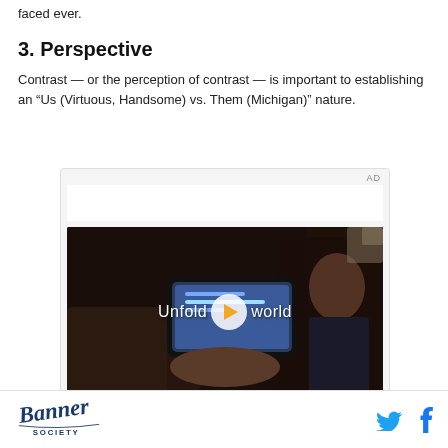faced ever.
3. Perspective
Contrast — or the perception of contrast — is important to establishing an “Us (Virtuous, Handsome) vs. Them (Michigan)” nature.
[Figure (screenshot): Advertisement video player showing a person in a car holding a foldable phone, with text overlay reading 'Unfold your world' and a play button. AD label in top right.]
Banner Society logo, Twitter bird icon, Facebook f icon